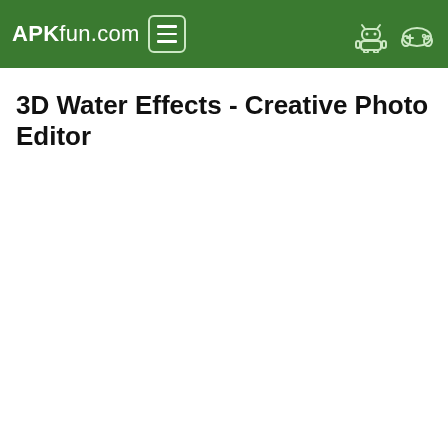APKfun.com
3D Water Effects - Creative Photo Editor